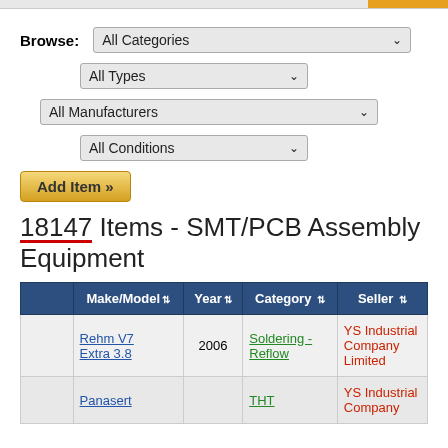Browse: All Categories
All Types
All Manufacturers
All Conditions
Add Item »
18147 Items - SMT/PCB Assembly Equipment
|  | Make/Model | Year | Category | Seller |
| --- | --- | --- | --- | --- |
|  | Rehm V7 Extra 3.8 | 2006 | Soldering - Reflow | YS Industrial Company Limited |
|  | Panasert |  | THT | YS Industrial Company |